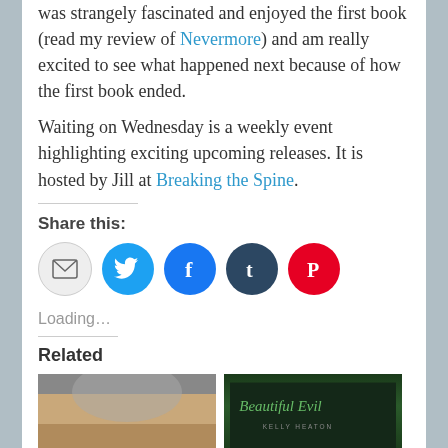was strangely fascinated and enjoyed the first book (read my review of Nevermore) and am really excited to see what happened next because of how the first book ended.
Waiting on Wednesday is a weekly event highlighting exciting upcoming releases. It is hosted by Jill at Breaking the Spine.
Share this:
[Figure (infographic): Row of five social sharing icon circles: email (grey), Twitter (blue), Facebook (blue), Tumblr (dark navy), Pinterest (red)]
Loading…
Related
[Figure (photo): Two book cover thumbnails side by side. Left: a dark moody portrait with blonde hair. Right: 'Beautiful Evil' by Kelly Heaton on dark green background.]